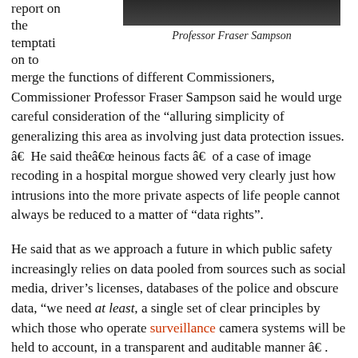[Figure (photo): Portrait photograph of Professor Fraser Sampson]
Professor Fraser Sampson
report on the temptation to merge the functions of different Commissioners, Commissioner Professor Fraser Sampson said he would urge careful consideration of the “alluring simplicity of generalizing this area as involving just data protection issues. â€ He said theâ€œ heinous facts â€ of a case of image recoding in a hospital morgue showed very clearly just how intrusions into the more private aspects of life people cannot always be reduced to a matter of “data rights”.
He said that as we approach a future in which public safety increasingly relies on data pooled from sources such as social media, driver’s licenses, databases of the police and obscure data, “we need at least, a single set of clear principles by which those who operate surveillance camera systems will be held to account, in a transparent and auditable manner â€ . The litmus